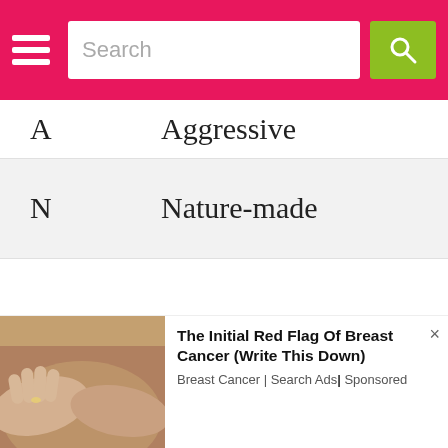Search
| Letter | Word |
| --- | --- |
| A | Aggressive |
| N | Nature-made |
[Figure (photo): Advertisement photo showing hands holding abdomen area, for a breast cancer awareness ad]
The Initial Red Flag Of Breast Cancer (Write This Down)
Breast Cancer | Search Ads | Sponsored